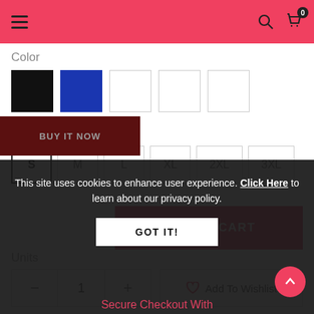Navigation header with hamburger menu, search icon, and cart (0)
Color
[Figure (other): Five color swatches: black, navy blue, white, white, white]
Size
S  M  L  XL  2XL  3XL
ADD TO CART
Units
- 1 +
Add To Wishlist
BUY IT NOW
This site uses cookies to enhance user experience. Click Here to learn about our privacy policy.
GOT IT!
Secure Checkout With